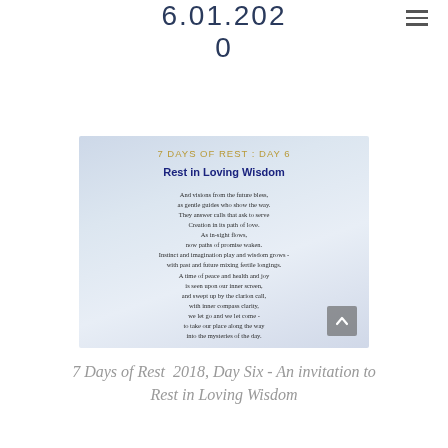6.01.2020
ENVISION
[Figure (illustration): A card with sky/cloud background titled '7 DAYS OF REST : DAY 6' and subtitle 'Rest in Loving Wisdom', containing a poem about visions, creation, peace, and mystery.]
7 Days of Rest  2018, Day Six - An invitation to Rest in Loving Wisdom